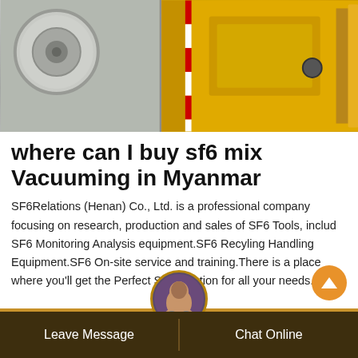[Figure (photo): Industrial equipment photo showing HVAC/AC unit on the left side and yellow industrial container/cabinet on the right with red and white hazard stripes]
where can I buy sf6 mix Vacuuming in Myanmar
SF6Relations (Henan) Co., Ltd. is a professional company focusing on research, production and sales of SF6 Tools, includ SF6 Monitoring Analysis equipment.SF6 Recyling Handling Equipment.SF6 On-site service and training.There is a place where you'll get the Perfect SF6 solution for all your needs.
Leave Message    Chat Online